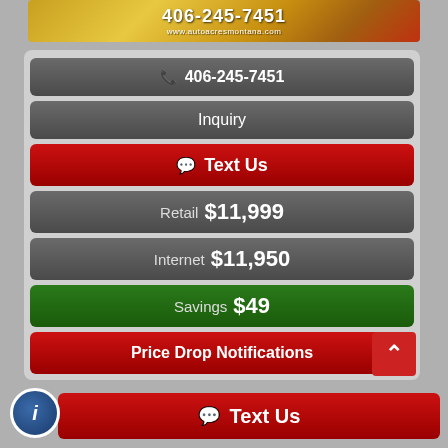[Figure (screenshot): Auto dealer banner with gold/orange textured background showing phone number 406-245-7451 and website www.autoacresmontana.com]
📞 406-245-7451
Inquiry
💬 Text Us
Retail $11,999
Internet $11,950
Savings $49
Price Drop Notifications
💬 Text Us